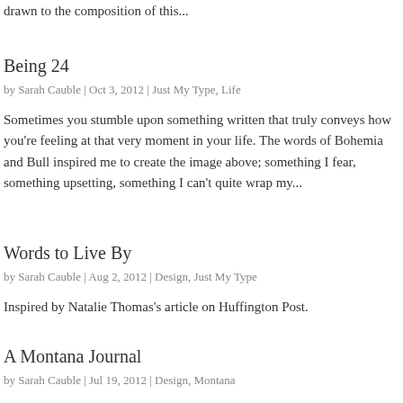drawn to the composition of this...
Being 24
by Sarah Cauble | Oct 3, 2012 | Just My Type, Life
Sometimes you stumble upon something written that truly conveys how you're feeling at that very moment in your life. The words of Bohemia and Bull inspired me to create the image above; something I fear, something upsetting, something I can't quite wrap my...
Words to Live By
by Sarah Cauble | Aug 2, 2012 | Design, Just My Type
Inspired by Natalie Thomas's article on Huffington Post.
A Montana Journal
by Sarah Cauble | Jul 19, 2012 | Design, Montana